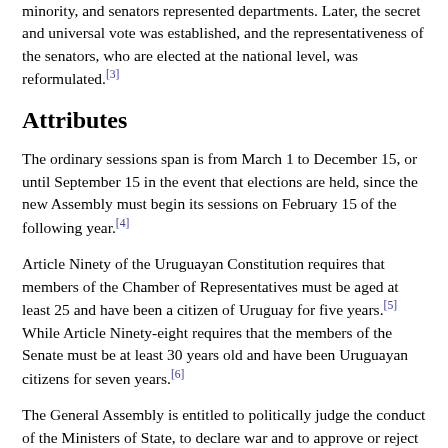minority, and senators represented departments. Later, the secret and universal vote was established, and the representativeness of the senators, who are elected at the national level, was reformulated.[3]
Attributes
The ordinary sessions span is from March 1 to December 15, or until September 15 in the event that elections are held, since the new Assembly must begin its sessions on February 15 of the following year.[4]
Article Ninety of the Uruguayan Constitution requires that members of the Chamber of Representatives must be aged at least 25 and have been a citizen of Uruguay for five years.[5] While Article Ninety-eight requires that the members of the Senate must be at least 30 years old and have been Uruguayan citizens for seven years.[6]
The General Assembly is entitled to politically judge the conduct of the Ministers of State, to declare war and to approve or reject peace treaties, alliances, commerce, and conventions or contracts of any nature that the Executive Power enters into with foreign powers and designate every year the necessary armed force, as